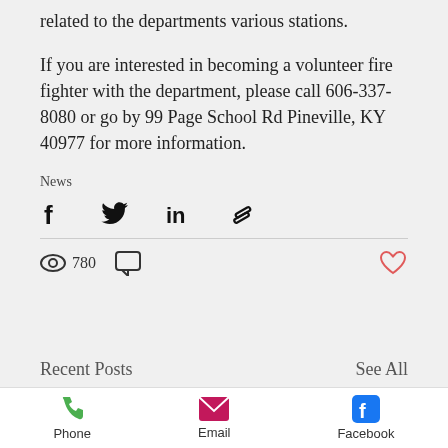related to the departments various stations.
If you are interested in becoming a volunteer fire fighter with the department, please call 606-337-8080 or go by 99 Page School Rd Pineville, KY 40977 for more information.
News
[Figure (infographic): Social share icons: Facebook, Twitter, LinkedIn, Link/copy]
[Figure (infographic): Stats row: eye icon with 780 views, comment icon, heart/like icon on right]
Recent Posts   See All
[Figure (infographic): Bottom navigation bar with Phone (green phone icon), Email (pink envelope icon), Facebook (blue Facebook icon)]